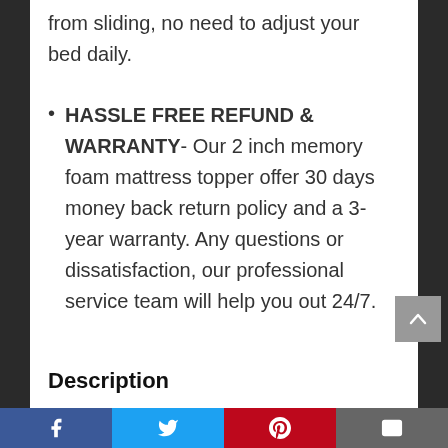from sliding, no need to adjust your bed daily.
HASSLE FREE REFUND & WARRANTY- Our 2 inch memory foam mattress topper offer 30 days money back return policy and a 3-year warranty. Any questions or dissatisfaction, our professional service team will help you out 24/7.
Description
Size: Queen | Style: 2 Inch